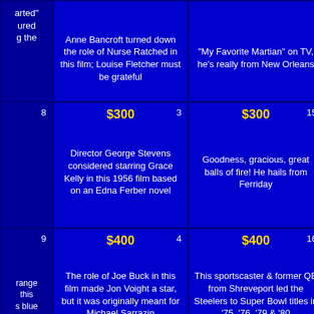| [partial]arted" ...ured ...g the | Anne Bancroft turned down the role of Nurse Ratched in this film; Louise Fletcher must be grateful | "My Favorite Martian" on TV, he's really from New Orleans | Maple syrup can be used balls of this fo |
| 8 | $300  3 | Director George Stevens considered starring Grace Kelly in this 1956 film based on an Edna Ferber novel | $300  15 | Goodness, gracious, great balls of fire! He hails from Ferriday | $3 | Although so renditions traditional joh cooked on surfa |
| 9 | $400  4 | The role of Joe Buck in this film made Jon Voight a star, but it was originally meant for Michael Sarrazin | $400  16 | This sportscaster & former QB from Shreveport led the Steelers to Super Bowl titles in '75, '76, '79 & '80 | $4 | Like clams, c be the basis this thick, c |